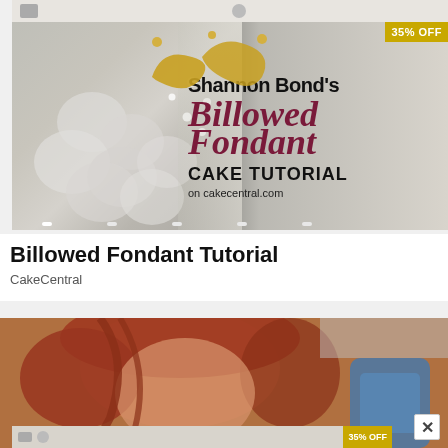[Figure (photo): Promotional banner for Shannon Bond's Billowed Fondant Cake Tutorial on cakeCentral.com, showing a decorated white fondant cake with gold decorations. Has '35% OFF' badge in top right corner and navigation dots at bottom.]
Billowed Fondant Tutorial
CakeCentral
[Figure (photo): Photo of a red-haired woman working on a cake tutorial, with a blue chair visible in the background. A close/X button is visible in the lower right.]
[Figure (photo): Partial view of another promotional banner at the bottom with 35% OFF badge.]